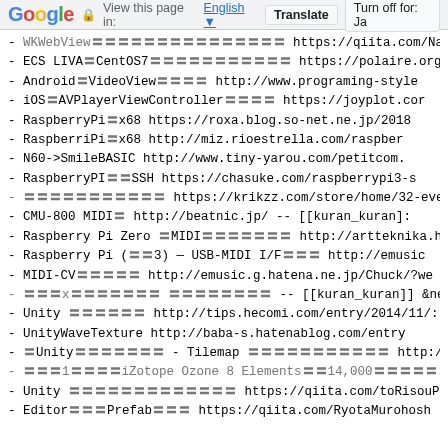Google | View this page in: English | Translate | Turn off for: Ja
- WKWebView〓〓〓〓〓〓〓〓〓〓〓〓〓〓〓 https://qiita.com/Nabesu
- ECS LIVA〓CentOS7〓〓〓〓〓〓〓〓〓〓〓 https://polaire.org/r-
- Android〓VideoView〓〓〓〓 http://www.programing-style
- iOS〓AVPlayerViewController〓〓〓〓 https://joyplot.co
- RaspberryPi〓x68 https://roxa.blog.so-net.ne.jp/2018
- RaspberriPi〓x68 http://miz.rioestrella.com/raspber
- N60->SmileBASIC http://www.tiny-yarou.com/petitcom.
- RaspberryPI〓〓SSH https://chasuke.com/raspberrypi3-s
- 〓〓〓〓〓〓〓〓〓〓〓 https://krikzz.com/store/home/32-everd
- CMU-800 MIDI〓 http://beatnic.jp/ -- [[kuran_kuran]:
- Raspberry Pi Zero 〓MIDI〓〓〓〓〓〓〓 http://artteknika.ha
- Raspberry Pi (〓〓3) — USB-MIDI I/F〓〓〓 http://emusic
- MIDI-CV〓〓〓〓〓 http://emusic.g.hatena.ne.jp/Chuck/?we
- 〓〓〓x〓〓〓〓〓〓〓 〓〓〓〓〓〓〓〓 -- [[kuran_kuran]] &new{2018-09
- Unity 〓〓〓〓〓〓 http://tips.hecomi.com/entry/2014/11/
- UnityWaveTexture http://baba-s.hatenablog.com/entry
- 〓UnityUnity〓〓〓〓〓〓〓 - Tilemap 〓〓〓〓〓〓〓〓〓〓〓 http://baba-s.ha
- 〓〓〓1〓〓〓〓iZotope Ozone 8 Elements〓〓14,000〓〓〓〓〓〓〓〓〓〓〓
- Unity 〓〓〓〓〓〓〓〓〓〓〓〓〓 https://qiita.com/toRisouP/ite
- Editor〓〓〓Prefab〓〓〓 https://qiita.com/RyotaMurohosh